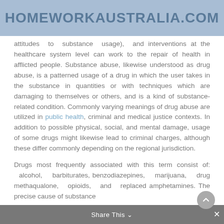HOMEWORKAUSTRALIA.COM
attitudes to substance usage, and interventions at the healthcare system level can work to the repair of health in afflicted people. Substance abuse, likewise understood as drug abuse, is a patterned usage of a drug in which the user takes in the substance in quantities or with techniques which are damaging to themselves or others, and is a kind of substance-related condition. Commonly varying meanings of drug abuse are utilized in public health, criminal and medical justice contexts. In addition to possible physical, social, and mental damage, usage of some drugs might likewise lead to criminal charges, although these differ commonly depending on the regional jurisdiction.
Drugs most frequently associated with this term consist of: alcohol, barbiturates, benzodiazepines, marijuana, drug methaqualone, opioids, and replaced amphetamines. The precise cause of substance